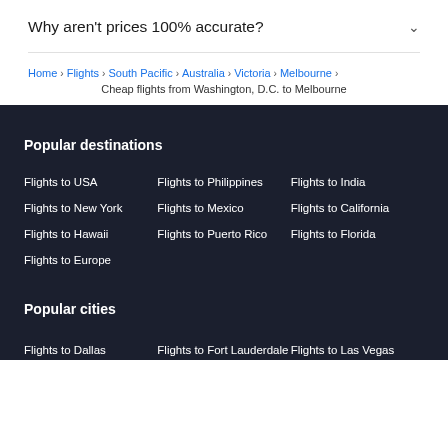Why aren't prices 100% accurate?
Home > Flights > South Pacific > Australia > Victoria > Melbourne
Cheap flights from Washington, D.C. to Melbourne
Popular destinations
Flights to USA
Flights to Philippines
Flights to India
Flights to New York
Flights to Mexico
Flights to California
Flights to Hawaii
Flights to Puerto Rico
Flights to Florida
Flights to Europe
Popular cities
Flights to Dallas
Flights to Fort Lauderdale
Flights to Las Vegas